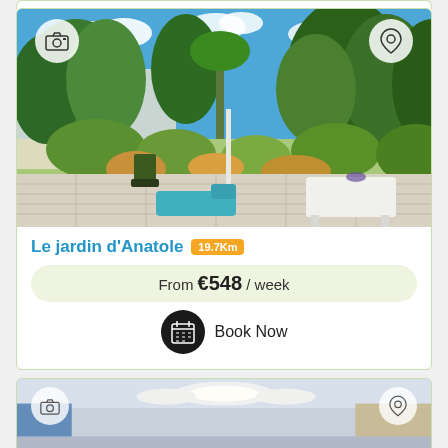[Figure (photo): Outdoor garden patio with lush green trees, blue sky, white garden furniture, lounger chairs, and stone paving]
Le jardin d'Anatole 19.7Km
From €548 / week
Book Now
[Figure (photo): Interior room with modern ceiling lights and furnishings, partially visible]